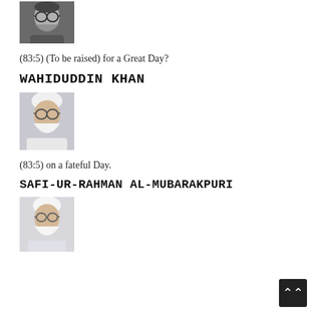[Figure (photo): Black and white portrait photo of a bearded man with glasses]
(83:5) (To be raised) for a Great Day?
WAHIDUDDIN KHAN
[Figure (photo): Color portrait photo of an elderly man with white beard and turban wearing glasses]
(83:5) on a fateful Day.
SAFI-UR-RAHMAN AL-MUBARAKPURI
[Figure (photo): Color portrait photo of an elderly man with white beard and white cap wearing glasses]